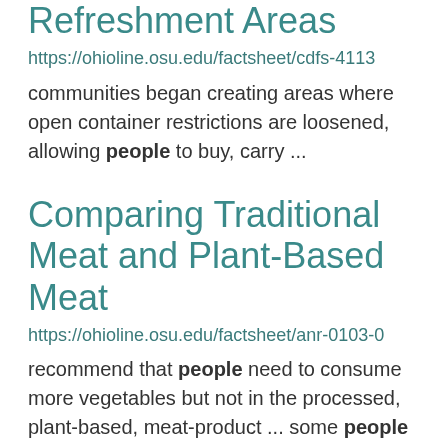Refreshment Areas
https://ohioline.osu.edu/factsheet/cdfs-4113
communities began creating areas where open container restrictions are loosened, allowing people to buy, carry ...
Comparing Traditional Meat and Plant-Based Meat
https://ohioline.osu.edu/factsheet/anr-0103-0
recommend that people need to consume more vegetables but not in the processed, plant-based, meat-product ... some people need to avoid. Pea protein also lacks methionine. Unprocessed pea protein also has a much... a negative factor for